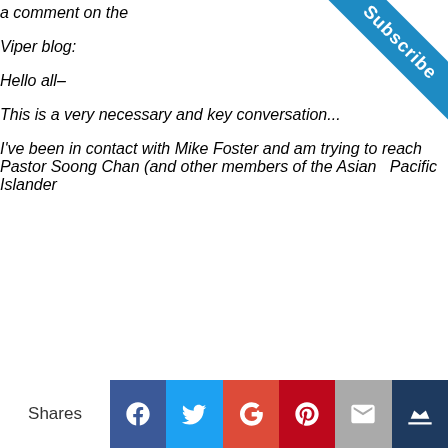a comment on the Viper blog:
Hello all–
This is a very necessary and key conversation...
I've been in contact with Mike Foster and am trying to reach Pastor Soong Chan (and other members of the Asian Pacific Islander
[Figure (other): Subscribe ribbon banner in the top-right corner]
Shares | Facebook | Twitter | Google+ | Pinterest | Email | Crown